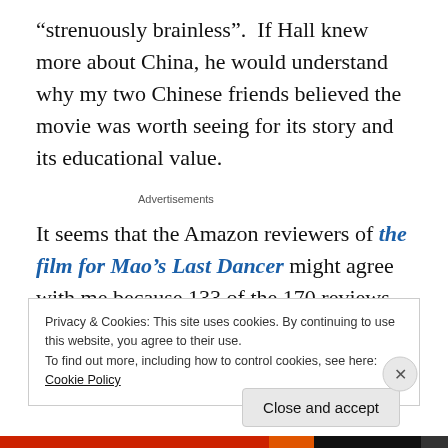“strenuously brainless”.  If Hall knew more about China, he would understand why my two Chinese friends believed the movie was worth seeing for its story and its educational value.
Advertisements
It seems that the Amazon reviewers of the film for Mao’s Last Dancer might agree with me because 133 of the 170 reviews have 5-stars.  The average for the film was also
Privacy & Cookies: This site uses cookies. By continuing to use this website, you agree to their use.
To find out more, including how to control cookies, see here: Cookie Policy